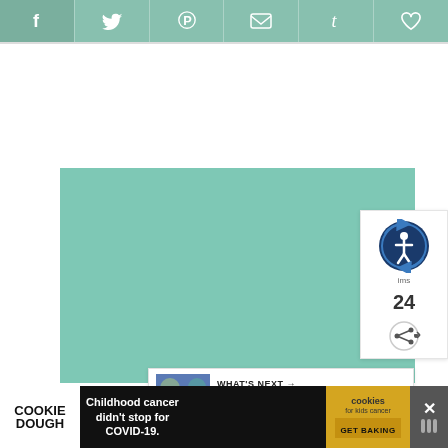Social share bar with icons: Facebook, Twitter, Pinterest, Email, Tumblr, Heart/Save
[Figure (illustration): Large teal/mint green rectangular image placeholder area]
[Figure (infographic): Side panel showing accessibility icon (person in circle with arrows), number 24, and share icon button]
[Figure (infographic): What's Next panel showing thumbnail image and text '3 Exercises to do with...']
[Figure (infographic): Bottom advertisement bar: COOKIE DOUGH branding, text 'Childhood cancer didn't stop for COVID-19.', cookies for kids cancer badge with GET BAKING, and close button]